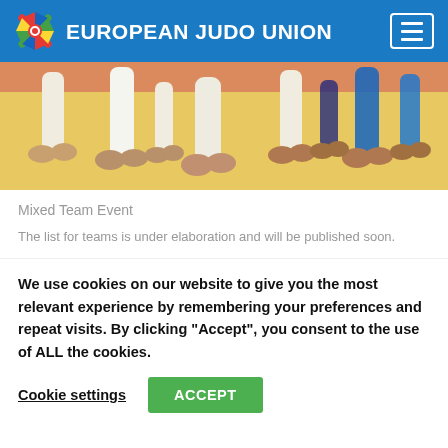EUROPEAN JUDO UNION
[Figure (photo): Judo practitioners' legs and feet on a yellow mat, some wearing white gi and some wearing blue gi, training or competing on a judo mat.]
Mixed Team Event
The list for teams is under elaboration and will be published soon.
We use cookies on our website to give you the most relevant experience by remembering your preferences and repeat visits. By clicking “Accept”, you consent to the use of ALL the cookies.
Cookie settings  ACCEPT